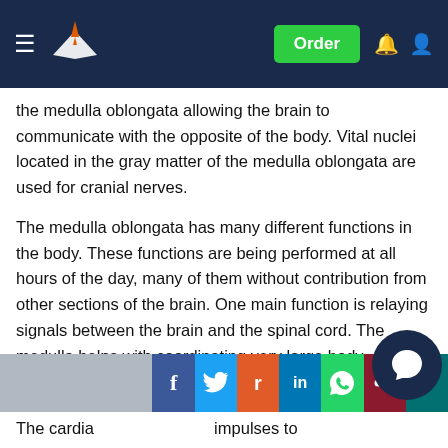Navigation bar with logo, Order button, notification and user icons
the medulla oblongata allowing the brain to communicate with the opposite of the body. Vital nuclei located in the gray matter of the medulla oblongata are used for cranial nerves.
The medulla oblongata has many different functions in the body. These functions are being performed at all hours of the day, many of them without contribution from other sections of the brain. One main function is relaying signals between the brain and the spinal cord. The medulla helps with coordinating very large body movements liking jogging or climbing. The medulla houses portions of the brain that control what is considered automatic homeostatic func as well as some primitive organs (Campbell and Ree 2008).
The cardia [partial text] impulses to